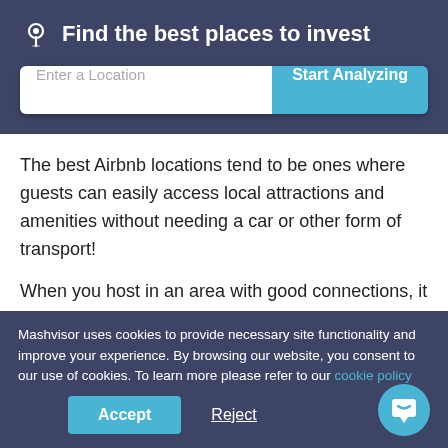Find the best places to invest
[Figure (screenshot): Search bar with 'Enter a Location' placeholder and 'Start Analyzing' button]
The best Airbnb locations tend to be ones where guests can easily access local attractions and amenities without needing a car or other form of transport!
When you host in an area with good connections, it makes it easier for your guests to get around. They can stay in a neighborhood that's close enough to certain amenities and
Mashvisor uses cookies to provide necessary site functionality and improve your experience. By browsing our website, you consent to our use of cookies. To learn more please refer to our cookie policy
Accept
Reject